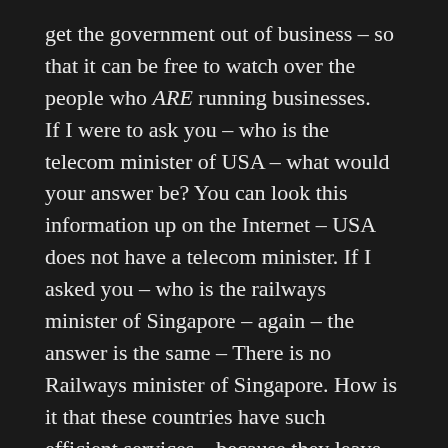get the government out of business – so that it can be free to watch over the people who ARE running businesses.
If I were to ask you – who is the telecom minister of USA – what would your answer be? You can look this information up on the Internet – USA does not have a telecom minister. If I asked you – who is the railways minister of Singapore – again – the answer is the same – There is no Railways minister of Singapore. How is it that these countries have such efficient services – because they leave the provision of these services up to the businessmen. And that means they have the time, the resources and the money to watch